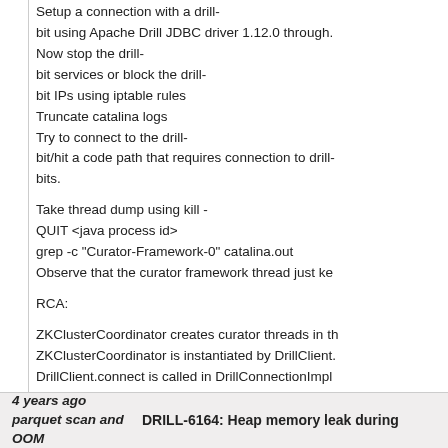Steps to reproduce the issue

Setup a connection with a drill-bit using Apache Drill JDBC driver 1.12.0 through.
Now stop the drill-bit services or block the drill-bit IPs using iptable rules
Truncate catalina logs
Try to connect to the drill-bit/hit a code path that requires connection to drill-bits.
Take thread dump using kill -QUIT <java process id>
grep -c "Curator-Framework-0" catalina.out
Observe that the curator framework thread just ke

RCA:

ZKClusterCoordinator creates curator threads in th
ZKClusterCoordinator is instantiated by DrillClient.
DrillClient.connect is called in DrillConnectionImpl

Fix:

Call DrillConnectionImpl .cleanup() from all the ca

close apache/drill#1094
4 years ago
parquet scan and OOM
DRILL-6164: Heap memory leak during